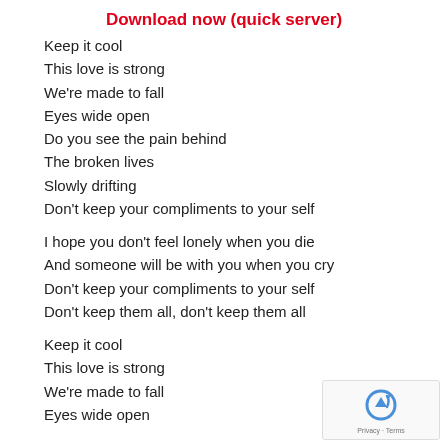Download now (quick server)
Keep it cool
This love is strong
We're made to fall
Eyes wide open
Do you see the pain behind
The broken lives
Slowly drifting
Don't keep your compliments to your self
I hope you don't feel lonely when you die
And someone will be with you when you cry
Don't keep your compliments to your self
Don't keep them all, don't keep them all
Keep it cool
This love is strong
We're made to fall
Eyes wide open